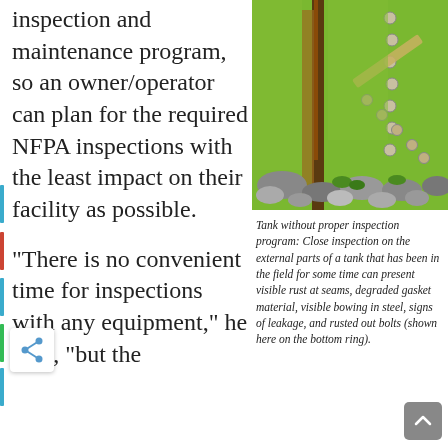inspection and maintenance program, so an owner/operator can plan for the required NFPA inspections with the least impact on their facility as possible.
[Figure (photo): Close-up photo of the external parts of a storage tank showing rust at seams, bolts, and signs of leakage or corrosion. Green-painted tank surface with corroded bolts visible on a vertical seam/ring.]
Tank without proper inspection program: Close inspection on the external parts of a tank that has been in the field for some time can present visible rust at seams, degraded gasket material, visible bowing in steel, signs of leakage, and rusted out bolts (shown here on the bottom ring).
“There is no convenient time for inspections with any equipment,” he says, “but the